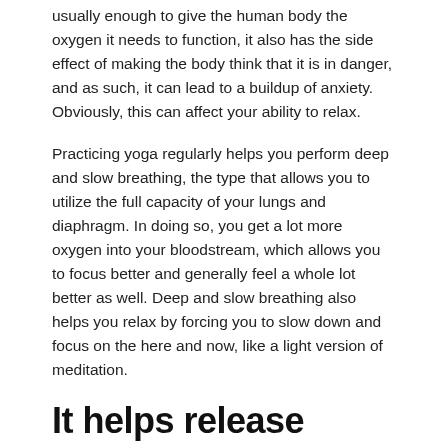usually enough to give the human body the oxygen it needs to function, it also has the side effect of making the body think that it is in danger, and as such, it can lead to a buildup of anxiety. Obviously, this can affect your ability to relax.
Practicing yoga regularly helps you perform deep and slow breathing, the type that allows you to utilize the full capacity of your lungs and diaphragm. In doing so, you get a lot more oxygen into your bloodstream, which allows you to focus better and generally feel a whole lot better as well. Deep and slow breathing also helps you relax by forcing you to slow down and focus on the here and now, like a light version of meditation.
It helps release stress through physical activity